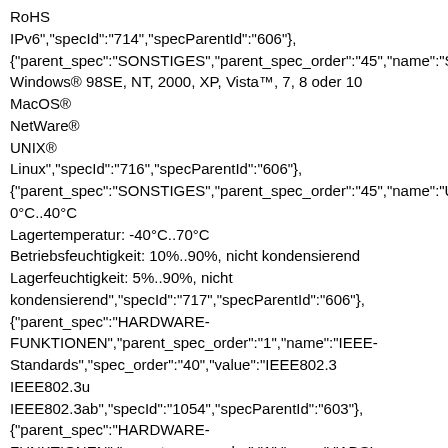RoHS
IPv6","specId":"714","specParentId":"606"},
{"parent_spec":"SONSTIGES","parent_spec_order":"45","name":"S
Windows® 98SE, NT, 2000, XP, Vista™, 7, 8 oder 10
MacOS®
NetWare®
UNIX®
Linux","specId":"716","specParentId":"606"},
{"parent_spec":"SONSTIGES","parent_spec_order":"45","name":"U
0°C..40°C
Lagertemperatur: -40°C..70°C
Betriebsfeuchtigkeit: 10%..90%, nicht kondensierend
Lagerfeuchtigkeit: 5%..90%, nicht
kondensierend","specId":"717","specParentId":"606"},
{"parent_spec":"HARDWARE-FUNKTIONEN","parent_spec_order":"1","name":"IEEE-Standards","spec_order":"40","value":"IEEE802.3
IEEE802.3u
IEEE802.3ab","specId":"1054","specParentId":"603"},
{"parent_spec":"HARDWARE-FUNKTIONEN","parent_spec_order":"1","name":"ADSL-Standards","spec_order":"43","value":"Full-rate ANSI T1.413
Issue 2
ITU-T G.992.1(G.DMT), ITU-T G.992.2(G.Lite)
ITU-T G.994.1 (G.hs)